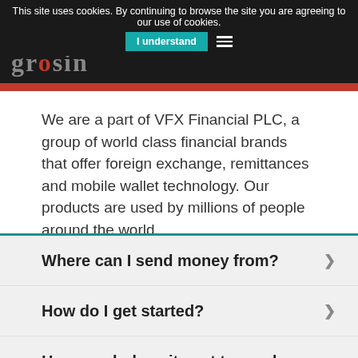This site uses cookies. By continuing to browse the site you are agreeing to our use of cookies. I understand
[Figure (logo): Grosin logo in grey/red on dark background]
We are a part of VFX Financial PLC, a group of world class financial brands that offer foreign exchange, remittances and mobile wallet technology. Our products are used by millions of people around the world.
Where can I send money from?
How do I get started?
How much does it cost to send money?